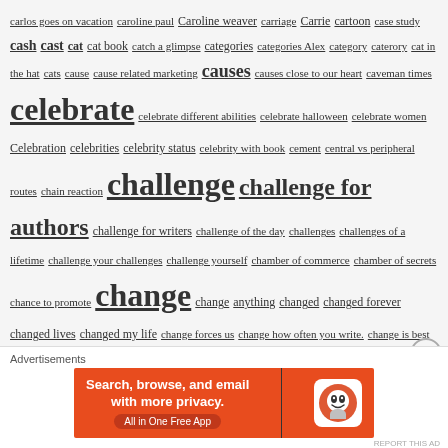carlos goes on vacation caroline paul Caroline weaver carriage Carrie cartoon case study cash cast cat cat book catch a glimpse categories categories Alex category caterory cat in the hat cats cause cause related marketing causes causes close to our heart caveman times celebrate celebrate different abilities celebrate halloween celebrate women Celebration celebrities celebrity status celebrity with book cement central vs peripheral routes chain reaction challenge challenge for authors challenge for writers challenge of the day challenges challenges of a lifetime challenge your challenges challenge yourself chamber of commerce chamber of secrets chance to promote change change anything changed changed forever changed lives changed my life change forces us change how often you write. change is best change is your choice change starts now change your approach if things aren't working change your focus change your frequency change your habits and change your life change your mindset change your name change your space change your timing changing colour channel chapter 2 chapter 2 excerpt chapter book chapters character character's name character chaos character creation character development
[Figure (infographic): DuckDuckGo advertisement banner: orange background with text 'Search, browse, and email with more privacy. All in One Free App' and DuckDuckGo logo]
Advertisements